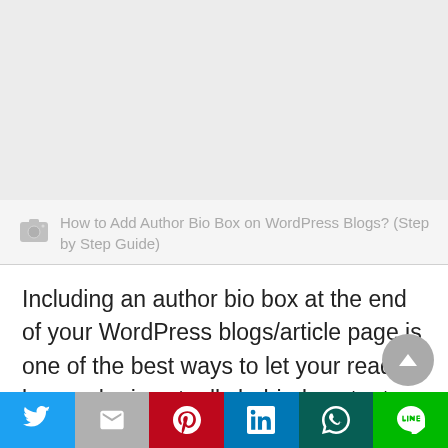[Figure (photo): Light gray placeholder image area at the top of the page]
How to Add Author Bio Box on WordPress Blogs? (Step by Step Guide)
Including an author bio box at the end of your WordPress blogs/article page is one of the best ways to let your readers know who is actually behind content creation. By doing so, you can significantly enhance the credibility
[Figure (other): Social share bar with Twitter, Gmail, Pinterest, LinkedIn, WhatsApp, and LINE buttons]